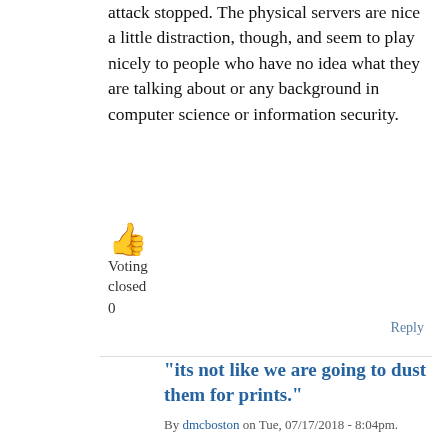attack stopped. The physical servers are nice a little distraction, though, and seem to play nicely to people who have no idea what they are talking about or any background in computer science or information security.
[Figure (illustration): Orange thumbs-up emoji icon]
Voting
closed
0
Reply
"its not like we are going to dust them for prints."
By dmcboston on Tue, 07/17/2018 - 8:04pm.
Or, as Hillary asked, Wipe them? Like with cloths?" (paraphrased).
Nice try, but really. Please. You get paid for this bullshit?